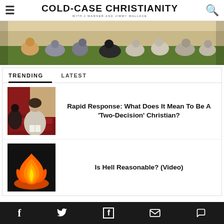COLD-CASE CHRISTIANITY WITH J WARNER AND JIMMY WALLACE
[Figure (photo): People sitting on grass at an outdoor event, viewed from behind]
TRENDING
LATEST
[Figure (photo): Woman in a church holding a book, sitting in red pew]
Rapid Response: What Does It Mean To Be A 'Two-Decision' Christian?
[Figure (photo): Fire flames on dark background]
Is Hell Reasonable? (Video)
Facebook Twitter Flipboard Email Comment icons